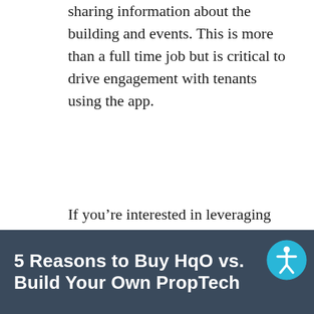sharing information about the building and events. This is more than a full time job but is critical to drive engagement with tenants using the app.
If you’re interested in leveraging tenant engagement software this year, but are still on the fence as to whether to build it internally or work with a partner like HqO, please refer to this quick cheat sheet.
[Figure (other): Dark navy banner with bold white text reading '5 Reasons to Buy HqO vs. Build Your Own PropTech' with an accessibility icon in the bottom right corner]